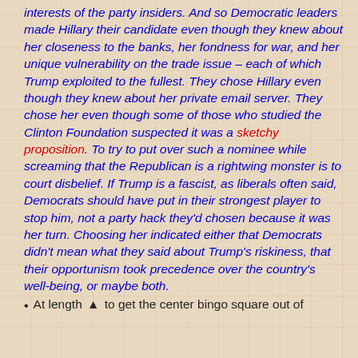interests of the party insiders. And so Democratic leaders made Hillary their candidate even though they knew about her closeness to the banks, her fondness for war, and her unique vulnerability on the trade issue – each of which Trump exploited to the fullest. They chose Hillary even though they knew about her private email server. They chose her even though some of those who studied the Clinton Foundation suspected it was a sketchy proposition. To try to put over such a nominee while screaming that the Republican is a rightwing monster is to court disbelief. If Trump is a fascist, as liberals often said, Democrats should have put in their strongest player to stop him, not a party hack they'd chosen because it was her turn. Choosing her indicated either that Democrats didn't mean what they said about Trump's riskiness, that their opportunism took precedence over the country's well-being, or maybe both.
At length ▲ to get the center bingo square out of